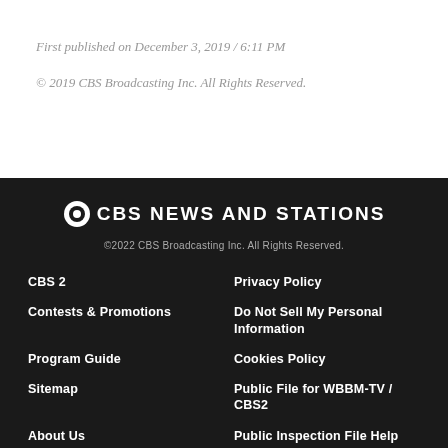First published on December 3, 2019 / 6:11 PM
© 2019 CBS Broadcasting Inc. All Rights Reserved.
CBS NEWS AND STATIONS
©2022 CBS Broadcasting Inc. All Rights Reserved.
CBS 2
Privacy Policy
Contests & Promotions
Do Not Sell My Personal Information
Program Guide
Cookies Policy
Sitemap
Public File for WBBM-TV / CBS2
About Us
Public Inspection File Help
Advertise
FCC Application
Paramount+